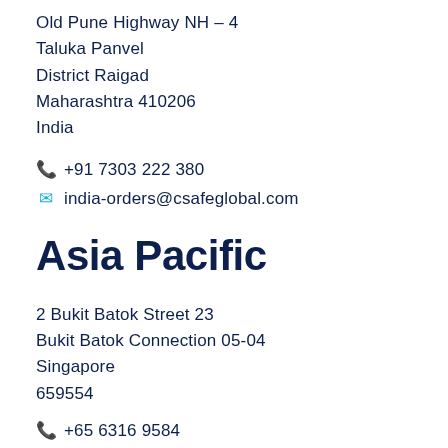Old Pune Highway NH – 4
Taluka Panvel
District Raigad
Maharashtra 410206
India
+91 7303 222 380
india-orders@csafeglobal.com
Asia Pacific
2 Bukit Batok Street 23
Bukit Batok Connection 05-04
Singapore
659554
+65 6316 9584